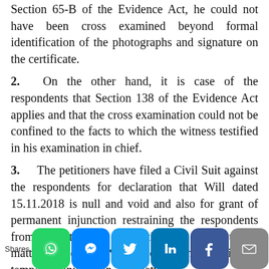Section 65-B of the Evidence Act, he could not have been cross examined beyond formal identification of the photographs and signature on the certificate.
2. On the other hand, it is case of the respondents that Section 138 of the Evidence Act applies and that the cross examination could not be confined to the facts to which the witness testified in his examination in chief.
3. The petitioners have filed a Civil Suit against the respondents for declaration that Will dated 15.11.2018 is null and void and also for grant of permanent injunction restraining the respondents from alienating the properties that were subject matter of the said Will Deed. On the question of temporary injunction, the matter